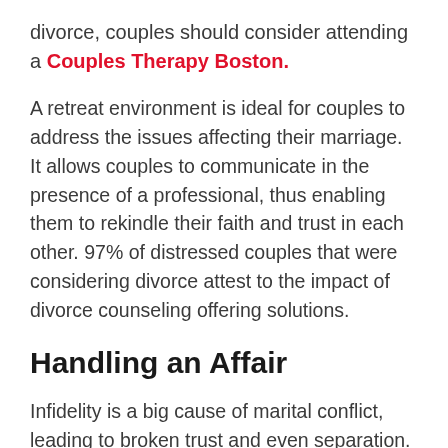divorce, couples should consider attending a Couples Therapy Boston.
A retreat environment is ideal for couples to address the issues affecting their marriage. It allows couples to communicate in the presence of a professional, thus enabling them to rekindle their faith and trust in each other. 97% of distressed couples that were considering divorce attest to the impact of divorce counseling offering solutions.
Handling an Affair
Infidelity is a big cause of marital conflict, leading to broken trust and even separation. If